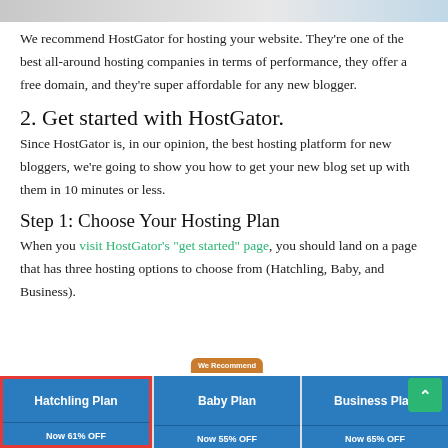[Figure (screenshot): Partial top image/banner from previous section]
We recommend HostGator for hosting your website. They're one of the best all-around hosting companies in terms of performance, they offer a free domain, and they're super affordable for any new blogger.
2. Get started with HostGator.
Since HostGator is, in our opinion, the best hosting platform for new bloggers, we're going to show you how to get your new blog set up with them in 10 minutes or less.
Step 1: Choose Your Hosting Plan
When you visit HostGator's "get started" page, you should land on a page that has three hosting options to choose from (Hatchling, Baby, and Business).
[Figure (screenshot): HostGator hosting plan options showing Hatchling Plan (highlighted with red border), Baby Plan (with We Recommend badge), and Business Plan buttons with NOW OFF labels]